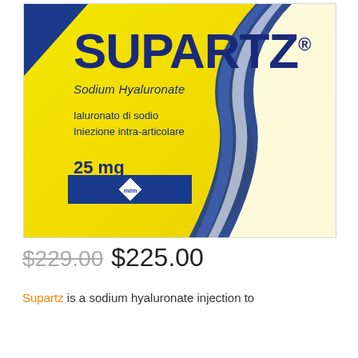[Figure (photo): Product box photo of Supartz Sodium Hyaluronate injection. Yellow box with blue branding. Shows SUPARTZ® brand name, Sodium Hyaluronate subtitle, Italian text 'Ialuronato di sodio / Iniezione intra-articolare', dosage '25 mg / 5 × 2.5 ml syringe', and mdm logo on blue banner.]
$229.00 $225.00
Supartz is a sodium hyaluronate injection to